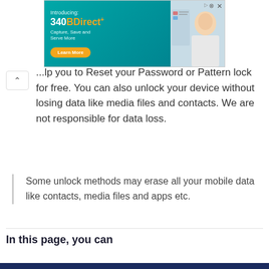[Figure (screenshot): Advertisement banner for 340BDirect+ with teal background. Shows 'Introducing: 340BDirect+' branding, tagline 'Capture, Save and Serve More', orange 'Learn More' button, and image of a pharmacist/healthcare worker on the right side. Close (X) button in top right corner.]
...lp you to Reset your Password or Pattern lock for free. You can also unlock your device without losing data like media files and contacts. We are not responsible for data loss.
Some unlock methods may erase all your mobile data like contacts, media files and apps etc.
In this page, you can